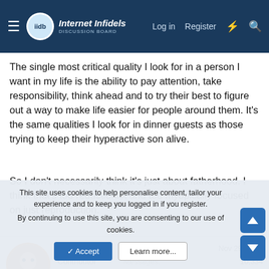Internet Infidels | Log in | Register
The single most critical quality I look for in a person I want in my life is the ability to pay attention, take responsibility, think ahead and to try their best to figure out a way to make life easier for people around them. It's the same qualities I look for in dinner guests as those trying to keep their hyperactive son alive.
So I don't necessarily think it's just about fatherhood. I think that's too reductionist and too myopically focused on just reproduction.
DrZoidberg
Contributor
Joined: Nov 29, 2007
Messages: 10,334
Location: Copenhagen
Basic Beliefs: Atheist
This site uses cookies to help personalise content, tailor your experience and to keep you logged in if you register.
By continuing to use this site, you are consenting to our use of cookies.